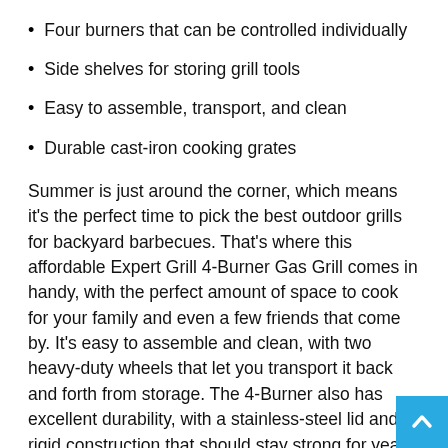Four burners that can be controlled individually
Side shelves for storing grill tools
Easy to assemble, transport, and clean
Durable cast-iron cooking grates
Summer is just around the corner, which means it's the perfect time to pick the best outdoor grills for backyard barbecues. That's where this affordable Expert Grill 4-Burner Gas Grill comes in handy, with the perfect amount of space to cook for your family and even a few friends that come by. It's easy to assemble and clean, with two heavy-duty wheels that let you transport it back and forth from storage. The 4-Burner also has excellent durability, with a stainless-steel lid and rigid construction that should stay strong for years to come. It can handle plenty of exposure to the outdoors, even during the year's hottest days.